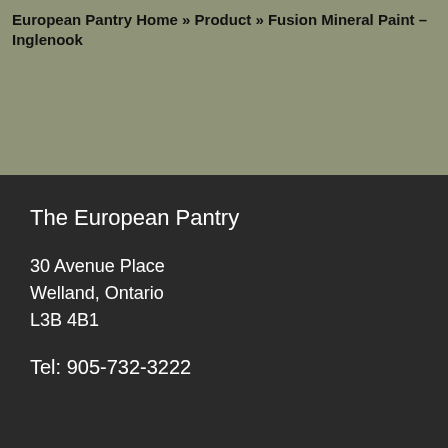European Pantry Home » Product » Fusion Mineral Paint – Inglenook
The European Pantry
30 Avenue Place
Welland, Ontario
L3B 4B1
Tel: 905-732-3222